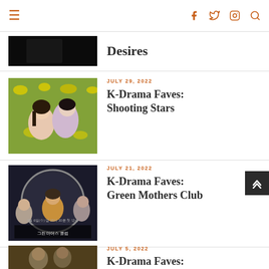≡ (menu) | (facebook) (twitter) (instagram) (search)
Desires
JULY 29, 2022
K-Drama Faves: Shooting Stars
[Figure (photo): Two actors posing in a field of yellow flowers, promotional photo for Shooting Stars K-drama]
JULY 21, 2022
K-Drama Faves: Green Mothers Club
[Figure (photo): Promotional poster for Green Mothers Club K-drama with Korean text]
JULY 5, 2022
K-Drama Faves:
[Figure (photo): Partially visible promotional image for another K-drama entry]